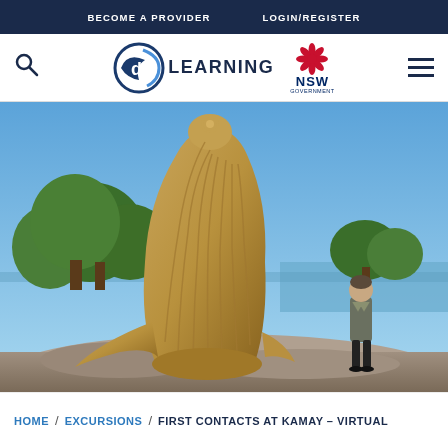BECOME A PROVIDER   LOGIN/REGISTER
[Figure (logo): DART Learning logo with NSW Government logo]
[Figure (photo): Large bronze whale sculpture on rocky ground with a man standing beside it, blue sky and trees in the background, near water]
HOME / EXCURSIONS / FIRST CONTACTS AT KAMAY – VIRTUAL